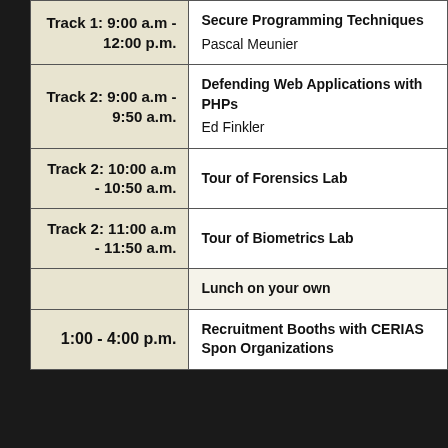| Time | Event |
| --- | --- |
| Track 1: 9:00 a.m - 12:00 p.m. | Secure Programming Techniques
Pascal Meunier |
| Track 2: 9:00 a.m - 9:50 a.m. | Defending Web Applications with PHPs
Ed Finkler |
| Track 2: 10:00 a.m - 10:50 a.m. | Tour of Forensics Lab |
| Track 2: 11:00 a.m - 11:50 a.m. | Tour of Biometrics Lab |
|  | Lunch on your own |
| 1:00 - 4:00 p.m. | Recruitment Booths with CERIAS Spon Organizations |